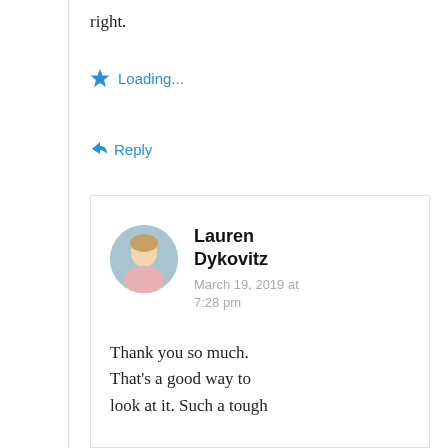right.
Loading...
Reply
Lauren Dykovitz
March 19, 2019 at 7:28 pm
Thank you so much. That’s a good way to look at it. Such a tough